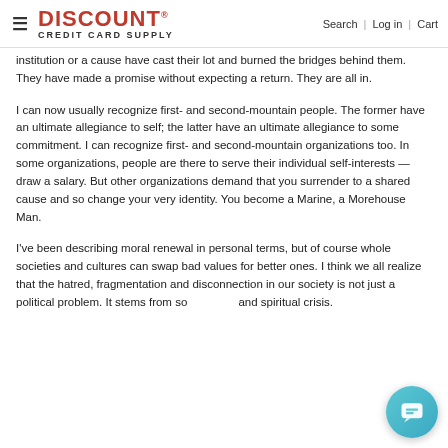≡ DISCOUNT CREDIT CARD SUPPLY | Search | Log in | Cart
institution or a cause have cast their lot and burned the bridges behind them. They have made a promise without expecting a return. They are all in.
I can now usually recognize first- and second-mountain people. The former have an ultimate allegiance to self; the latter have an ultimate allegiance to some commitment. I can recognize first- and second-mountain organizations too. In some organizations, people are there to serve their individual self-interests — draw a salary. But other organizations demand that you surrender to a shared cause and so change your very identity. You become a Marine, a Morehouse Man.
I've been describing moral renewal in personal terms, but of course whole societies and cultures can swap bad values for better ones. I think we all realize that the hatred, fragmentation and disconnection in our society is not just a political problem. It stems from some and spiritual crisis.